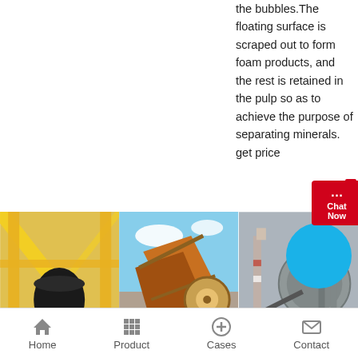the bubbles.The floating surface is scraped out to form foam products, and the rest is retained in the pulp so as to achieve the purpose of separating minerals.
get price
[Figure (photo): Industrial machine with yellow scaffolding and black cylindrical equipment]
[Figure (photo): Large orange/brown crusher or jaw equipment against blue sky]
[Figure (photo): Industrial plant with silos, pipes and conveyor belts]
Home  Product  Cases  Contact